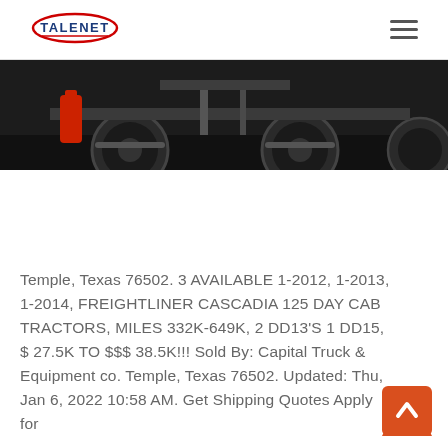TALENET
[Figure (photo): Partial view of a truck undercarriage showing large tires and red equipment components against a dark background]
Temple, Texas 76502. 3 AVAILABLE 1-2012, 1-2013, 1-2014, FREIGHTLINER CASCADIA 125 DAY CAB TRACTORS, MILES 332K-649K, 2 DD13'S 1 DD15, $ 27.5K TO $$$ 38.5K!!! Sold By: Capital Truck & Equipment co. Temple, Texas 76502. Updated: Thu, Jan 6, 2022 10:58 AM. Get Shipping Quotes Apply for